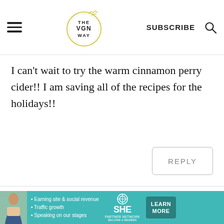THE VGN WAY — SUBSCRIBE
I can't wait to try the warm cinnamon perry cider!! I am saving all of the recipes for the holidays!!
REPLY
Aly Michell   August 01, 2020 at 10:17 pm
This is perfect! I've been preparing for this
[Figure (infographic): Advertisement banner for SHE Partner Network featuring a woman, bullet points about earning site & social revenue, traffic growth, speaking on our stages, the SHE Media logo, and a Learn More button]